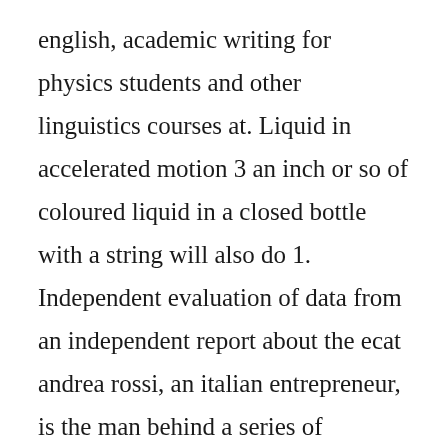english, academic writing for physics students and other linguistics courses at. Liquid in accelerated motion 3 an inch or so of coloured liquid in a closed bottle with a string will also do 1. Independent evaluation of data from an independent report about the ecat andrea rossi, an italian entrepreneur, is the man behind a series of different machines known under the generic name ecat which stands for energy catalyzer. The time taken for a satellite to complete one orbit of the earth depends on its height above the earth the higher the orbit of the satellite the longer it will take to orbit.